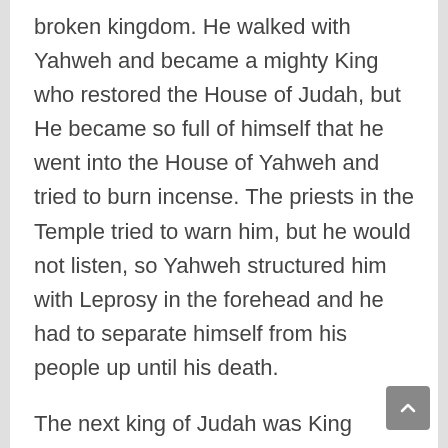broken kingdom. He walked with Yahweh and became a mighty King who restored the House of Judah, but He became so full of himself that he went into the House of Yahweh and tried to burn incense. The priests in the Temple tried to warn him, but he would not listen, so Yahweh structured him with Leprosy in the forehead and he had to separate himself from his people up until his death.
The next king of Judah was King Jotham who was a righteous king, but he also did not take away the High places of idol worship in the house of Judah. Ahaz, his son, became king